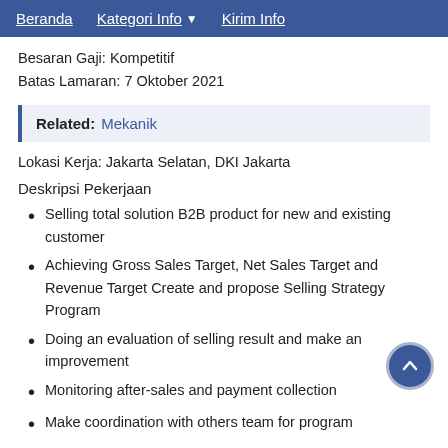Beranda   Kategori Info ▾   Kirim Info
Besaran Gaji: Kompetitif
Batas Lamaran: 7 Oktober 2021
Related: Mekanik
Lokasi Kerja: Jakarta Selatan, DKI Jakarta
Deskripsi Pekerjaan
Selling total solution B2B product for new and existing customer
Achieving Gross Sales Target, Net Sales Target and Revenue Target Create and propose Selling Strategy Program
Doing an evaluation of selling result and make an improvement
Monitoring after-sales and payment collection
Make coordination with others team for program